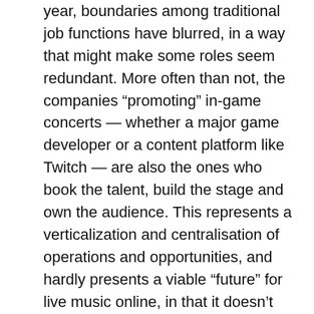year, boundaries among traditional job functions have blurred, in a way that might make some roles seem redundant. More often than not, the companies “promoting” in-game concerts — whether a major game developer or a content platform like Twitch — are also the ones who book the talent, build the stage and own the audience. This represents a verticalization and centralisation of operations and opportunities, and hardly presents a viable “future” for live music online, in that it doesn’t support a more open, decentralised ecosystem of promoters who are free to foster their own events and communities as they see fit.
So how do we solve this? There’s one area where concert promoters aren’t redundant, especially in an online context: crafting experiences that